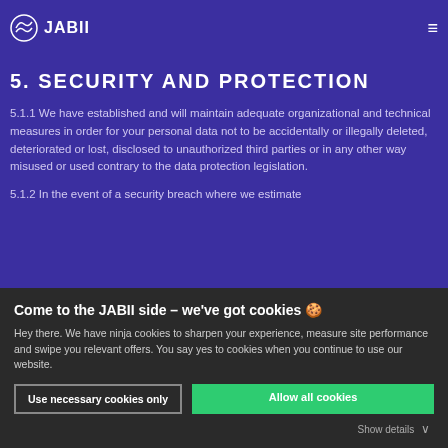JABII
EU.G.S. Privacy Shield Framework and we have also entered into a Data Processing Agreement with Mailchimp.
5. SECURITY AND PROTECTION
5.1.1 We have established and will maintain adequate organizational and technical measures in order for your personal data not to be accidentally or illegally deleted, deteriorated or lost, disclosed to unauthorized third parties or in any other way misused or used contrary to the data protection legislation.
5.1.2 In the event of a security breach where we estimate
Come to the JABII side – we've got cookies 🍪
Hey there. We have ninja cookies to sharpen your experience, measure site performance and swipe you relevant offers. You say yes to cookies when you continue to use our website.
Use necessary cookies only
Allow all cookies
Show details